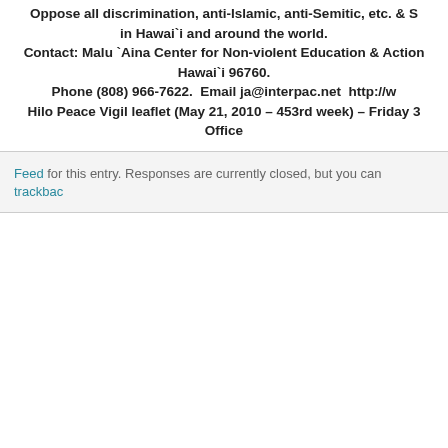Oppose all discrimination, anti-Islamic, anti-Semitic, etc. & Support Human Rights in Hawai`i and around the world. Contact: Malu `Aina Center for Non-violent Education & Action Hawai`i 96760. Phone (808) 966-7622. Email ja@interpac.net http://w... Hilo Peace Vigil leaflet (May 21, 2010 – 453rd week) – Friday 3... Office
Feed for this entry. Responses are currently closed, but you can trackback...